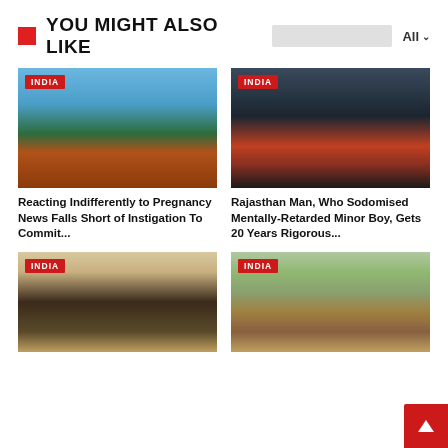YOU MIGHT ALSO LIKE
[Figure (photo): Bombay High Court building with red Gothic architecture and palm trees, tagged INDIA]
Reacting Indifferently to Pregnancy News Falls Short of Instigation To Commit...
[Figure (photo): Silhouetted person behind jail bars with brick wall in background, tagged INDIA]
Rajasthan Man, Who Sodomised Mentally-Retarded Minor Boy, Gets 20 Years Rigorous...
[Figure (photo): Man with glasses and mustache gesturing with hands, tagged INDIA]
[Figure (photo): Flooded street with houses and green trees, tagged INDIA]